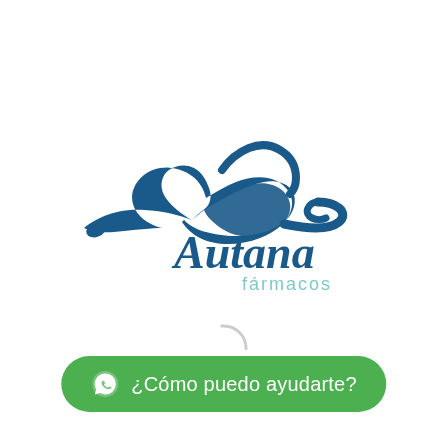[Figure (logo): Autana fármacos logo: dark blue brush-stroke bird/abstract shape above cursive 'Autana' script in dark blue, with 'fármacos' in light teal/gray below]
[Figure (other): Loading spinner: circular arc in gray indicating loading state]
¿Cómo puedo ayudarte?